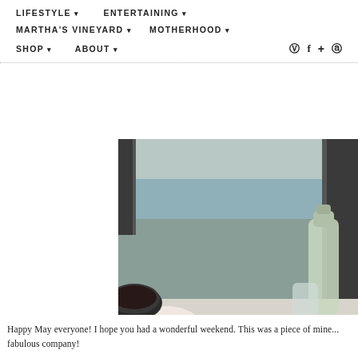LIFESTYLE  ENTERTAINING  MARTHA'S VINEYARD  MOTHERHOOD  SHOP  ABOUT  [social icons]
[Figure (photo): Outdoor dining table with seafood platter, bowls of vegetables and lemons, glasses, a carafe, plates, and a smartphone on a white tablecloth, with water and dark window frames visible in the background.]
Happy May everyone! I hope you had a wonderful weekend. This was a piece of mine... fabulous company!